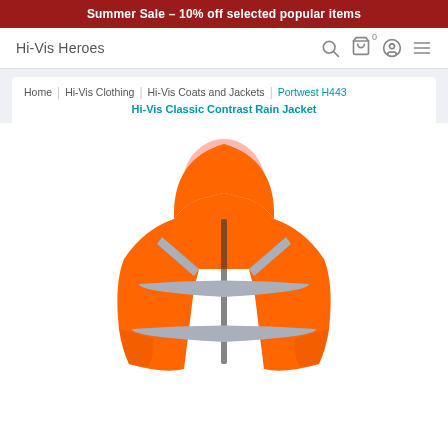Summer Sale – 10% off selected popular items
Hi-Vis Heroes
Home | Hi-Vis Clothing | Hi-Vis Coats and Jackets | Portwest H443 Hi-Vis Classic Contrast Rain Jacket
[Figure (photo): Orange hi-vis classic contrast rain jacket with reflective strips and hood, shown on a headless mannequin against a white background.]